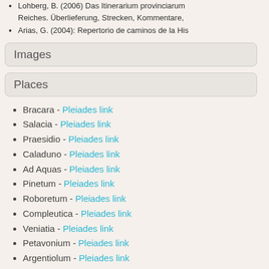Lohberg, B. (2006) Das Itinerarium provinciarum Reiches. Überlieferung, Strecken, Kommentare,
Arias, G. (2004): Repertorio de caminos de la His
Images
Places
Bracara - Pleiades link
Salacia - Pleiades link
Praesidio - Pleiades link
Caladuno - Pleiades link
Ad Aquas - Pleiades link
Pinetum - Pleiades link
Roboretum - Pleiades link
Compleutica - Pleiades link
Veniatia - Pleiades link
Petavonium - Pleiades link
Argentiolum - Pleiades link
Asturica - Pleiades link